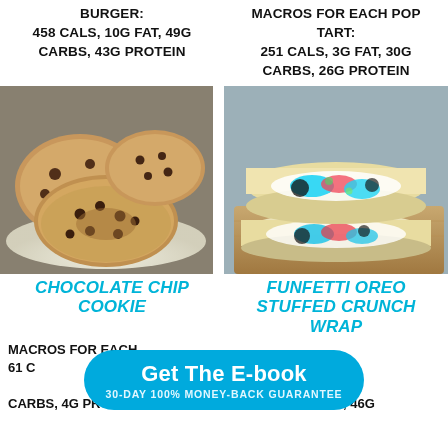BURGER: 458 CALS, 10G FAT, 49G CARBS, 43G PROTEIN
MACROS FOR EACH POP TART: 251 CALS, 3G FAT, 30G CARBS, 26G PROTEIN
[Figure (photo): Close-up photo of chocolate chip cookies stacked on a white plate]
[Figure (photo): Photo of Funfetti Oreo stuffed crunch wrap showing colorful filling with blue and red frosting on a wooden board]
CHOCOLATE CHIP COOKIE
FUNFETTI OREO STUFFED CRUNCH WRAP
MACROS FOR EACH
HOLE
61 C
P:
CARBS, 4G PROTEIN
201 CALS, 5G FAT, 46G
Get The E-book
30-DAY 100% MONEY-BACK GUARANTEE